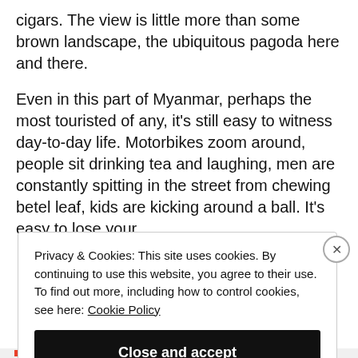cigars. The view is little more than some brown landscape, the ubiquitous pagoda here and there.
Even in this part of Myanmar, perhaps the most touristed of any, it’s still easy to witness day-to-day life. Motorbikes zoom around, people sit drinking tea and laughing, men are constantly spitting in the street from chewing betel leaf, kids are kicking around a ball. It’s easy to lose your
Privacy & Cookies: This site uses cookies. By continuing to use this website, you agree to their use. To find out more, including how to control cookies, see here: Cookie Policy
Close and accept